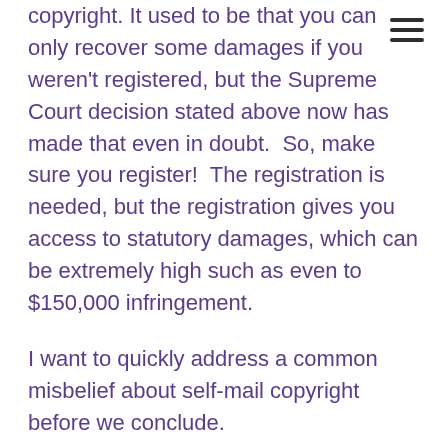copyright. It used to be that you can only recover some damages if you weren't registered, but the Supreme Court decision stated above now has made that even in doubt.  So, make sure you register!  The registration is needed, but the registration gives you access to statutory damages, which can be extremely high such as even to $150,000 infringement.
I want to quickly address a common misbelief about self-mail copyright before we conclude.
What About Sending It To Myself To Copyright?
There is a pretty commonly held belief that if you send a copy of the work to...